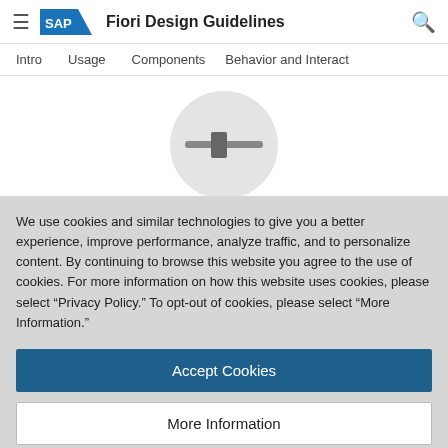SAP Fiori Design Guidelines
Intro  Usage  Components  Behavior and Interact
[Figure (illustration): A circular grey background with a horizontal slider control (track and thumb) in the center]
Elements and Controls
We use cookies and similar technologies to give you a better experience, improve performance, analyze traffic, and to personalize content. By continuing to browse this website you agree to the use of cookies. For more information on how this website uses cookies, please select “Privacy Policy.” To opt-out of cookies, please select “More Information.”
Accept Cookies
More Information
Privacy Policy | Powered by: TrustArc